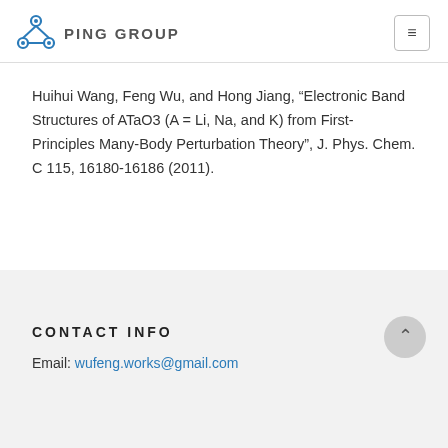PING GROUP
Huihui Wang, Feng Wu, and Hong Jiang, “Electronic Band Structures of ATaO3 (A = Li, Na, and K) from First-Principles Many-Body Perturbation Theory”, J. Phys. Chem. C 115, 16180-16186 (2011).
CONTACT INFO
Email: wufeng.works@gmail.com